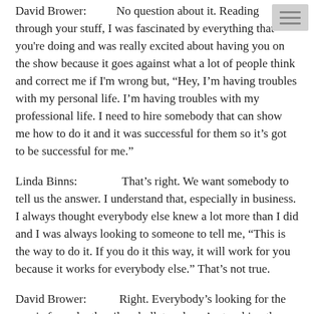David Brower: No question about it. Reading through your stuff, I was fascinated by everything that you're doing and was really excited about having you on the show because it goes against what a lot of people think and correct me if I'm wrong but, "Hey, I'm having troubles with my personal life. I'm having troubles with my professional life. I need to hire somebody that can show me how to do it and it was successful for them so it's got to be successful for me."
Linda Binns: That's right. We want somebody to tell us the answer. I understand that, especially in business. I always thought everybody else knew a lot more than I did and I was always looking to someone to tell me, "This is the way to do it. If you do it this way, it will work for you because it works for everybody else." That's not true.
David Brower: Right. Everybody's looking for the magic formula, the silver bullet and you're teaching them